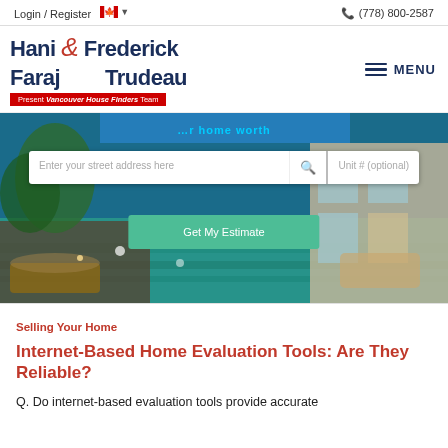Login / Register  🇨🇦  (778) 800-2587
[Figure (logo): Hani & Frederick Faraj & Trudeau - Present Vancouver House Finders Team logo]
[Figure (photo): Hero image of luxury home with pool, search bar with 'Enter your street address here' and 'Unit # (optional)', and 'Get My Estimate' button]
Selling Your Home
Internet-Based Home Evaluation Tools: Are They Reliable?
Q. Do internet-based evaluation tools provide accurate